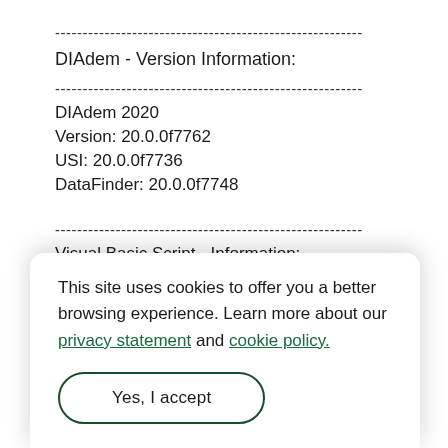--------------------------------------------------------
DIAdem - Version Information:
--------------------------------------------------------
DIAdem 2020
Version: 20.0.0f7762
USI: 20.0.0f7736
DataFinder: 20.0.0f7748
--------------------------------------------------------
Visual Basic Script - Information:
This site uses cookies to offer you a better browsing experience. Learn more about our privacy statement and cookie policy.